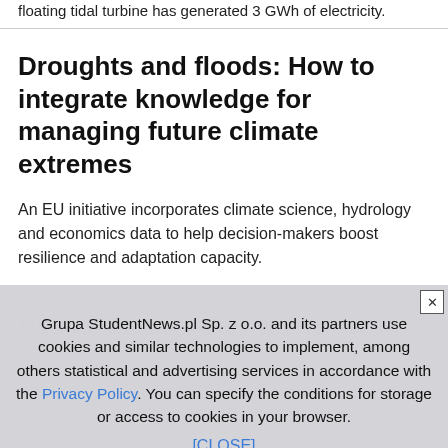floating tidal turbine has generated 3 GWh of electricity.
Droughts and floods: How to integrate knowledge for managing future climate extremes
An EU initiative incorporates climate science, hydrology and economics data to help decision-makers boost resilience and adaptation capacity.
Grupa StudentNews.pl Sp. z o.o. and its partners use cookies and similar technologies to implement, among others statistical and advertising services in accordance with the Privacy Policy. You can specify the conditions for storage or access to cookies in your browser. [CLOSE]